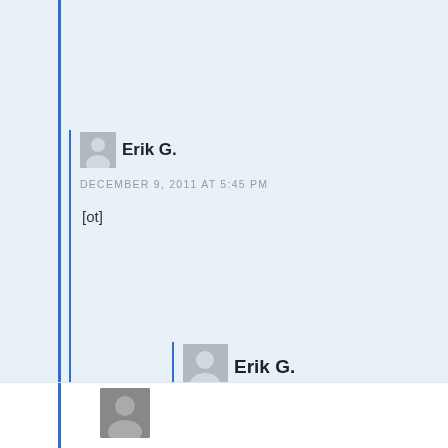Erik G.
DECEMBER 9, 2011 AT 5:45 PM
[ot]
Erik G.
DECEMBER 10, 2011 AT 1:21 PM
[cp]